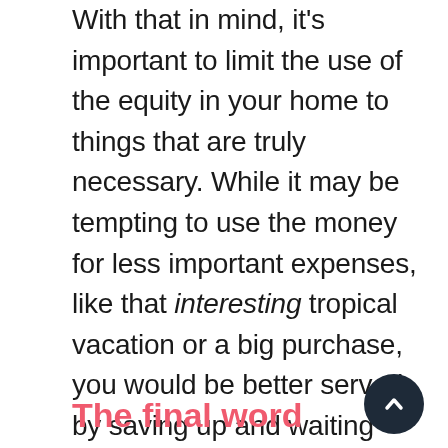With that in mind, it's important to limit the use of the equity in your home to things that are truly necessary. While it may be tempting to use the money for less important expenses, like that interesting tropical vacation or a big purchase, you would be better served by saving up and waiting until you have the money in hand. While the equity in your home is a valuable tool to have at your disposal, it's also not one to be taken lightly.
The final word